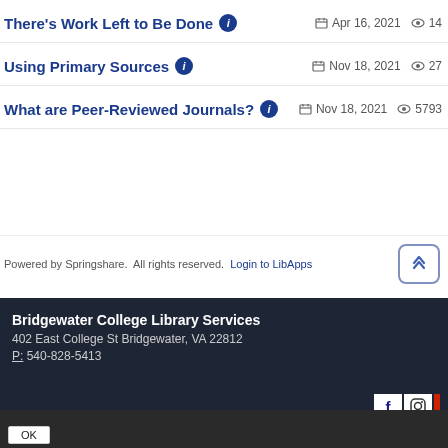There's Work Left to Be Done  Apr 16, 2021  14
Using Primary Sources  Nov 18, 2021  27
What are Peer-Reviewed Journals?  Nov 18, 2021  5793
Powered by Springshare.  All rights reserved.  Login to LibApps
Bridgewater College Library Services
402 East College St Bridgewater, VA 22812
P: 540-828-5413
This site uses cookies and records your IP address for usage statistics. Read More
OK